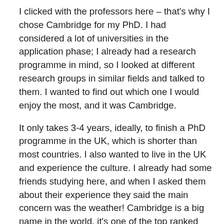I clicked with the professors here – that's why I chose Cambridge for my PhD. I had considered a lot of universities in the application phase; I already had a research programme in mind, so I looked at different research groups in similar fields and talked to them. I wanted to find out which one I would enjoy the most, and it was Cambridge.
It only takes 3-4 years, ideally, to finish a PhD programme in the UK, which is shorter than most countries. I also wanted to live in the UK and experience the culture. I already had some friends studying here, and when I asked them about their experience they said the main concern was the weather! Cambridge is a big name in the world, it's one of the top ranked universities and has an incredible reputation. Stephen Hawking is my favourite scientist of all time, and you only need to look at all the Nobel Prize winners who were at Cambridge to know it's a special place.
When I was applying to study at Cambridge, the first